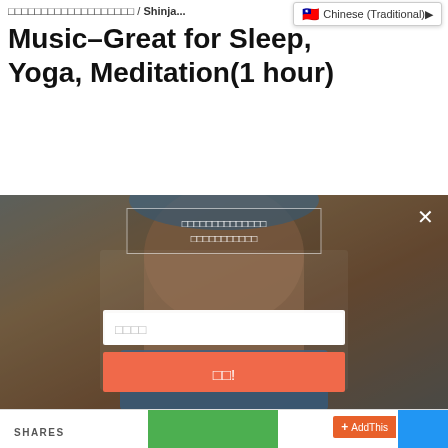□□□□□□□□□□□□□□□□□□□ / Shinju...
Chinese (Traditional)▶
Music–Great for Sleep, Yoga, Meditation(1 hour)
[Figure (photo): A person's torso and midsection shown in athletic wear (blue cap and blue shorts) against a warm brown/gray background, with a modal overlay dialog containing Chinese text, an email input field, and an orange submit button.]
□□□□□□□□□□□□□□ □□□□□□□□□□□
□□□□
□□!
SHARES
+ AddThis